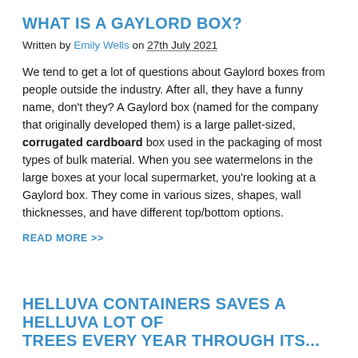WHAT IS A GAYLORD BOX?
Written by Emily Wells on 27th July 2021
We tend to get a lot of questions about Gaylord boxes from people outside the industry. After all, they have a funny name, don't they? A Gaylord box (named for the company that originally developed them) is a large pallet-sized, corrugated cardboard box used in the packaging of most types of bulk material. When you see watermelons in the large boxes at your local supermarket, you're looking at a Gaylord box. They come in various sizes, shapes, wall thicknesses, and have different top/bottom options.
READ MORE >>
HELLUVA CONTAINERS SAVES A HELLUVA LOT OF TREES EVERY YEAR THROUGH ITS...